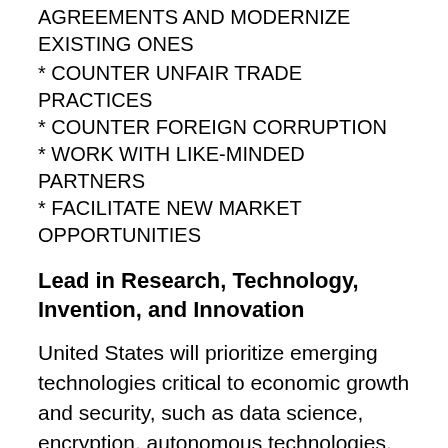AGREEMENTS AND MODERNIZE EXISTING ONES
* COUNTER UNFAIR TRADE PRACTICES
* COUNTER FOREIGN CORRUPTION
* WORK WITH LIKE-MINDED PARTNERS
* FACILITATE NEW MARKET OPPORTUNITIES
Lead in Research, Technology, Invention, and Innovation
United States will prioritize emerging technologies critical to economic growth and security, such as data science, encryption, autonomous technologies, gene editing, new materials, nanotechnology, advanced computing technologies, and artificial intelligence. From self-driving cars to autonomous weapons, the field of artificial